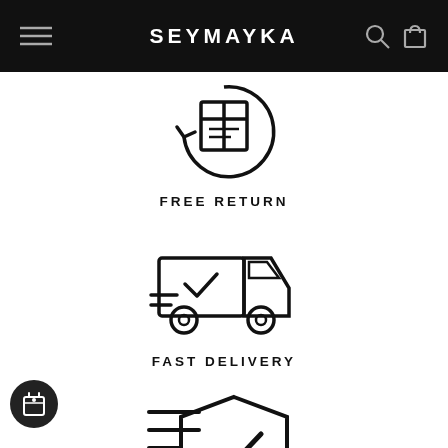SEYMAYKA
[Figure (illustration): Free return icon: a package with arrows in a circle indicating return]
FREE RETURN
[Figure (illustration): Fast delivery icon: a delivery truck with a checkmark]
FAST DELIVERY
[Figure (illustration): Secure/verified icon: a shield with checkmark and document lines, partially visible]
[Figure (illustration): Floating badge icon: a small gift/calendar icon in a dark circle]